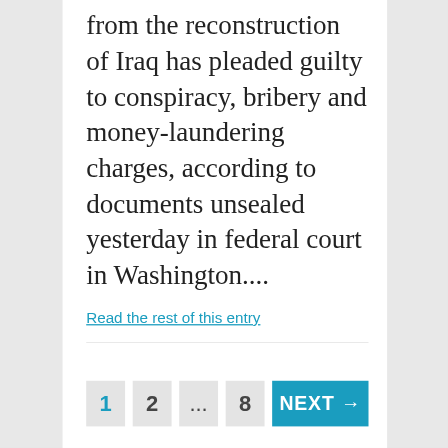from the reconstruction of Iraq has pleaded guilty to conspiracy, bribery and money-laundering charges, according to documents unsealed yesterday in federal court in Washington....
Read the rest of this entry
1  2  ...  8  NEXT →